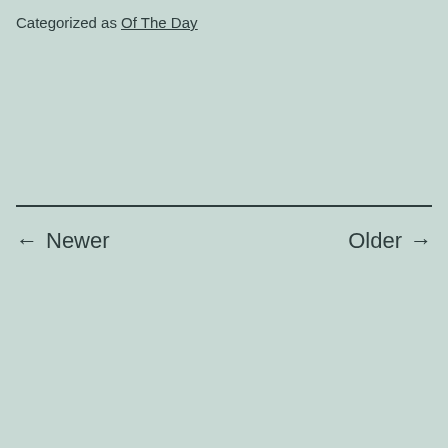Categorized as Of The Day
← Newer    Older →